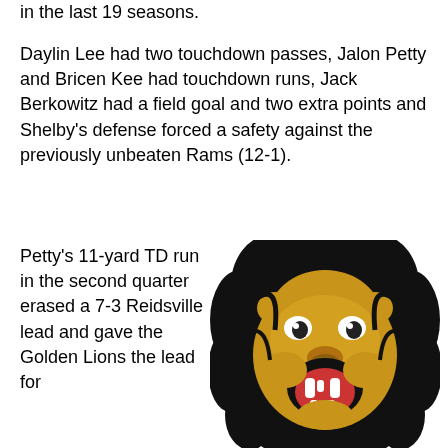in the last 19 seasons.
Daylin Lee had two touchdown passes, Jalon Petty and Bricen Kee had touchdown runs, Jack Berkowitz had a field goal and two extra points and Shelby’s defense forced a safety against the previously unbeaten Rams (12-1).
Petty’s 11-yard TD run in the second quarter erased a 7-3 Reidsville lead and gave the Golden Lions the lead for
[Figure (illustration): Roaring golden lion mascot illustration with black mane, open mouth showing fangs and red tongue, on white background]